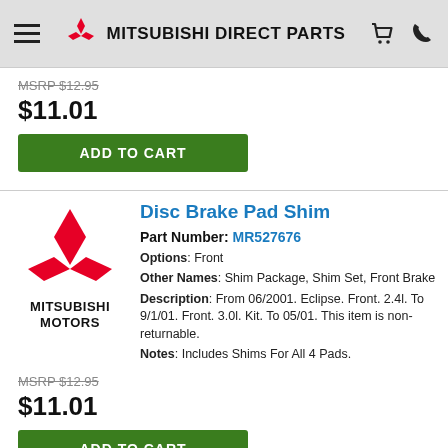MITSUBISHI DIRECT PARTS
MSRP $12.95
$11.01
ADD TO CART
[Figure (logo): Mitsubishi Motors logo with three red diamonds and text MITSUBISHI MOTORS]
Disc Brake Pad Shim
Part Number: MR527676
Options: Front
Other Names: Shim Package, Shim Set, Front Brake
Description: From 06/2001. Eclipse. Front. 2.4l. To 9/1/01. Front. 3.0l. Kit. To 05/01. This item is non-returnable.
Notes: Includes Shims For All 4 Pads.
MSRP $12.95
$11.01
ADD TO CART